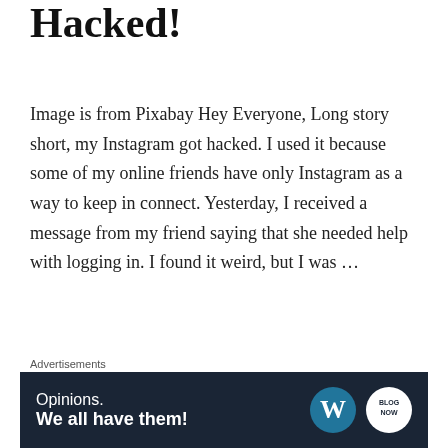Hacked!
Image is from Pixabay Hey Everyone, Long story short, my Instagram got hacked. I used it because some of my online friends have only Instagram as a way to keep in connect. Yesterday, I received a message from my friend saying that she needed help with logging in. I found it weird, but I was …
Continue reading
mybookworld24   blogging   6 Comments
Advertisements
[Figure (infographic): Advertisement banner with dark navy background. Text reads 'Opinions. We all have them!' with WordPress logo and Blog Now circular logo on the right.]